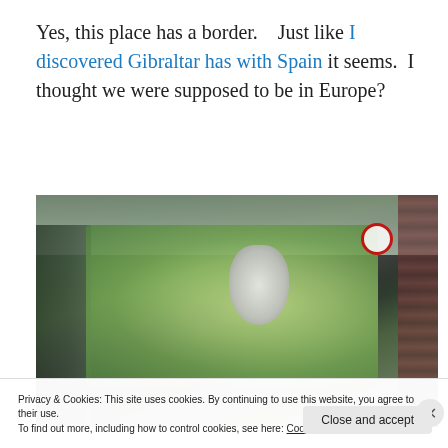Yes, this place has a border.   Just like I discovered Gibraltar has with Spain it seems.  I thought we were supposed to be in Europe?
[Figure (photo): Interior view from a bus, showing the ceiling, a rearview mirror, green trees visible through the windshield, curtains on the right side, and a no-smoking sign.]
Privacy & Cookies: This site uses cookies. By continuing to use this website, you agree to their use.
To find out more, including how to control cookies, see here: Cookie Policy